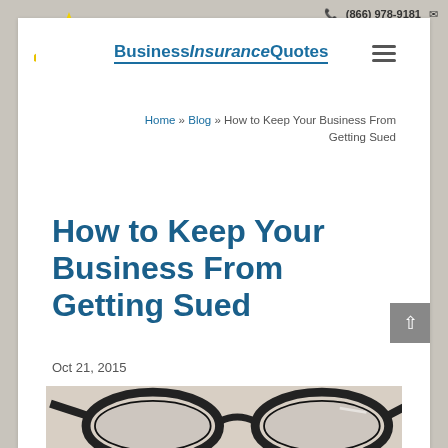☎ (866) 978-9181 ✉
[Figure (logo): BusinessInsuranceQuotes logo with blue shield icon and gold wings/laurels, with blue text reading BusinessInsuranceQuotes and a blue underline]
Home » Blog » How to Keep Your Business From Getting Sued
How to Keep Your Business From Getting Sued
Oct 21, 2015
[Figure (photo): Close-up photo of black-framed eyeglasses lying on a light-colored surface]